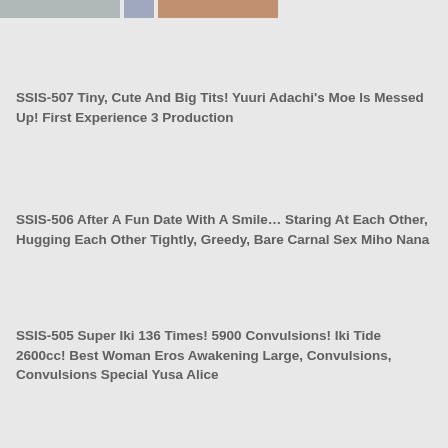[Figure (photo): Partial image strip at top of page showing cropped thumbnail images]
SSIS-507 Tiny, Cute And Big Tits! Yuuri Adachi's Moe Is Messed Up! First Experience 3 Production
SSIS-506 After A Fun Date With A Smile… Staring At Each Other, Hugging Each Other Tightly, Greedy, Bare Carnal Sex Miho Nana
SSIS-505 Super Iki 136 Times! 5900 Convulsions! Iki Tide 2600cc! Best Woman Eros Awakening Large, Convulsions, Convulsions Special Yusa Alice